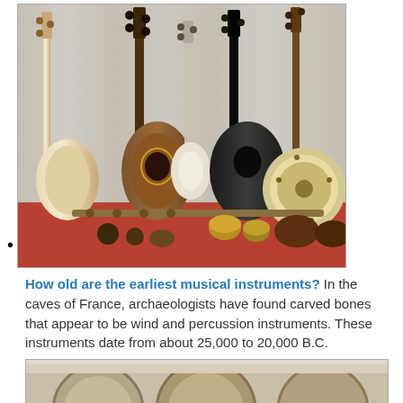[Figure (photo): A collection of string instruments including lutes, bouzouki, mandolin, balalaika, banjo, and other folk instruments leaning against a draped background, with various percussion instruments in the foreground on a red cloth.]
How old are the earliest musical instruments? In the caves of France, archaeologists have found carved bones that appear to be wind and percussion instruments. These instruments date from about 25,000 to 20,000 B.C.
[Figure (photo): Partial view of another image showing circular objects, possibly drums or plates, at the bottom of the page.]